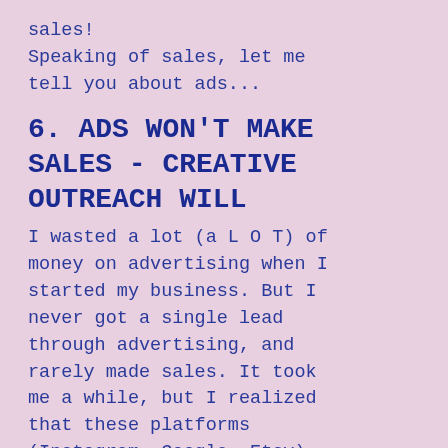sales!
Speaking of sales, let me tell you about ads...
6. ADS WON'T MAKE SALES - CREATIVE OUTREACH WILL
I wasted a lot (a L O T) of money on advertising when I started my business. But I never got a single lead through advertising, and rarely made sales. It took me a while, but I realized that these platforms (Instagram, Google, Etsy) make you feel like Ads are